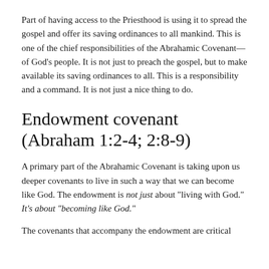Part of having access to the Priesthood is using it to spread the gospel and offer its saving ordinances to all mankind. This is one of the chief responsibilities of the Abrahamic Covenant—of God's people. It is not just to preach the gospel, but to make available its saving ordinances to all. This is a responsibility and a command. It is not just a nice thing to do.
Endowment covenant (Abraham 1:2-4; 2:8-9)
A primary part of the Abrahamic Covenant is taking upon us deeper covenants to live in such a way that we can become like God. The endowment is not just about "living with God." It's about "becoming like God."
The covenants that accompany the endowment are critical